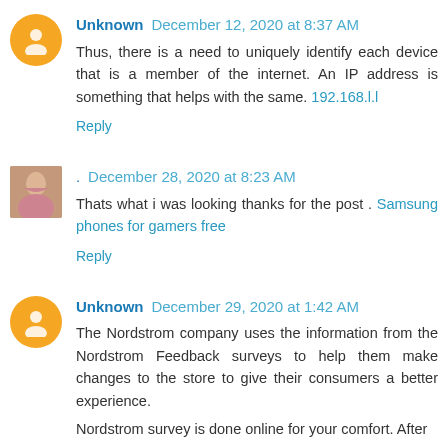Unknown December 12, 2020 at 8:37 AM
Thus, there is a need to uniquely identify each device that is a member of the internet. An IP address is something that helps with the same. 192.168.l.l
Reply
[Figure (photo): Small photo of a woman, used as commenter avatar]
. December 28, 2020 at 8:23 AM
Thats what i was looking thanks for the post . Samsung phones for gamers free
Reply
Unknown December 29, 2020 at 1:42 AM
The Nordstrom company uses the information from the Nordstrom Feedback surveys to help them make changes to the store to give their consumers a better experience.
Nordstrom survey is done online for your comfort. After